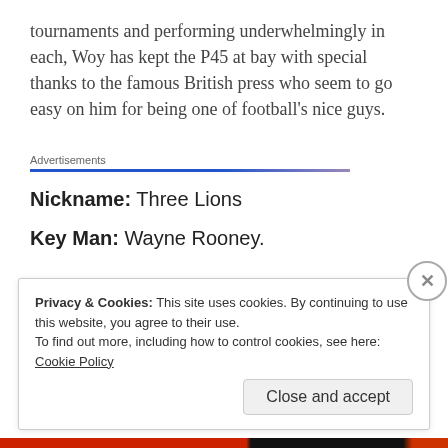tournaments and performing underwhelmingly in each, Woy has kept the P45 at bay with special thanks to the famous British press who seem to go easy on him for being one of football's nice guys.
Advertisements
Nickname: Three Lions
Key Man: Wayne Rooney.
Privacy & Cookies: This site uses cookies. By continuing to use this website, you agree to their use. To find out more, including how to control cookies, see here: Cookie Policy
Close and accept